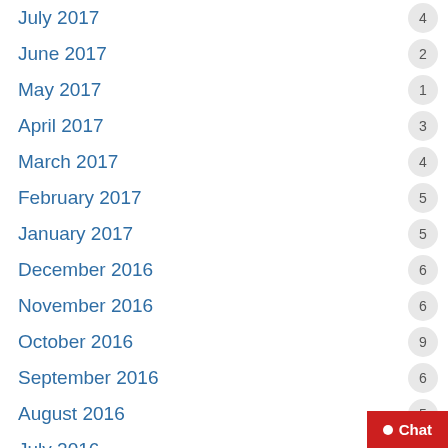July 2017
June 2017
May 2017
April 2017
March 2017
February 2017
January 2017
December 2016
November 2016
October 2016
September 2016
August 2016
July 2016
June 2016
May 2016
April 2016
March 2016
February 2016
January 2016
December 2015